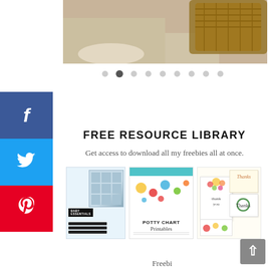[Figure (photo): A photograph showing what appears to be a basket or bread product on a light surface, partially visible at top of page]
[Figure (infographic): Carousel navigation dots (9 dots, second one active/filled)]
[Figure (infographic): Social media sidebar with Facebook (blue f), Twitter (blue bird), and Pinterest (red P) buttons]
FREE RESOURCE LIBRARY
Get access to download all my freebies all at once.
[Figure (photo): Three printable resource preview cards: (1) Baby Essentials checklist with grid icons and black label strips, (2) Potty Chart Printables with teal header and colorful dot decorations, (3) Thank you card set with floral designs and multiple card variations]
Freebi